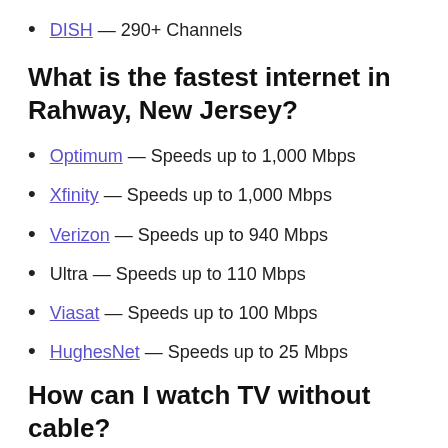DISH — 290+ Channels
What is the fastest internet in Rahway, New Jersey?
Optimum — Speeds up to 1,000 Mbps
Xfinity — Speeds up to 1,000 Mbps
Verizon — Speeds up to 940 Mbps
Ultra — Speeds up to 110 Mbps
Viasat — Speeds up to 100 Mbps
HughesNet — Speeds up to 25 Mbps
How can I watch TV without cable?